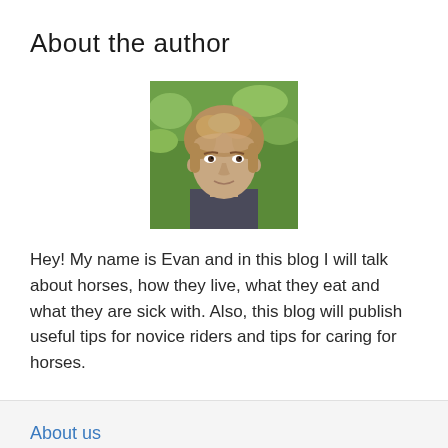About the author
[Figure (photo): Headshot photo of a young man with curly light brown hair against a green outdoor background]
Hey! My name is Evan and in this blog I will talk about horses, how they live, what they eat and what they are sick with. Also, this blog will publish useful tips for novice riders and tips for caring for horses.
About us
Contact